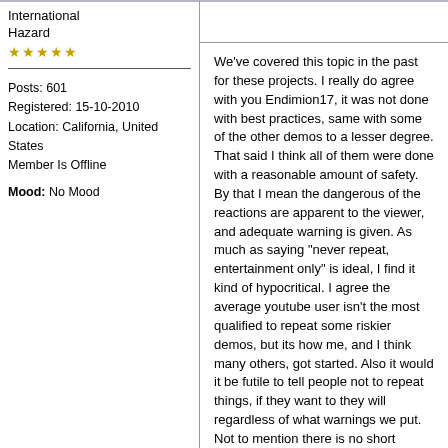International Hazard
★★★★★
Posts: 601
Registered: 15-10-2010
Location: California, United States
Member Is Offline
Mood: No Mood
We've covered this topic in the past for these projects. I really do agree with you Endimion17, it was not done with best practices, same with some of the other demos to a lesser degree. That said I think all of them were done with a reasonable amount of safety. By that I mean the dangerous of the reactions are apparent to the viewer, and adequate warning is given. As much as saying "never repeat, entertainment only" is ideal, I find it kind of hypocritical. I agree the average youtube user isn't the most qualified to repeat some riskier demos, but its how me, and I think many others, got started. Also it would it be futile to tell people not to repeat things, if they want to they will regardless of what warnings we put. Not to mention there is no short supply of kewl TATP videos out there...

I guess my point is we can't hold ourselves responsible for the irresponsibility of others. That being said promoting bad practice is bad, and we should strive for professionalism. Either way only my opinions here, I leave it to the rest of SM to decide.
My YouTube Channel
"Nothing is too wonderful to be true if it be consistent with the laws of nature." -Michael Faraday